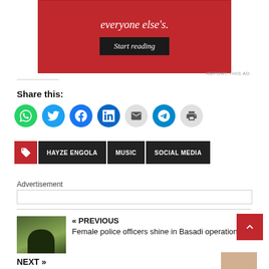[Figure (other): Red advertisement banner with white italic text 'everyone else's.' and a dark 'Start reading' button]
REPORT THIS AD
Share this:
[Figure (infographic): Row of social sharing icons: WhatsApp (green), Twitter (blue), Facebook (blue), LinkedIn (dark blue), Email (grey), Telegram (blue), Print (grey)]
HAYZE ENGOLA   MUSIC   SOCIAL MEDIA
Advertisement
« PREVIOUS
Female police officers shine in Basadi operation
NEXT »